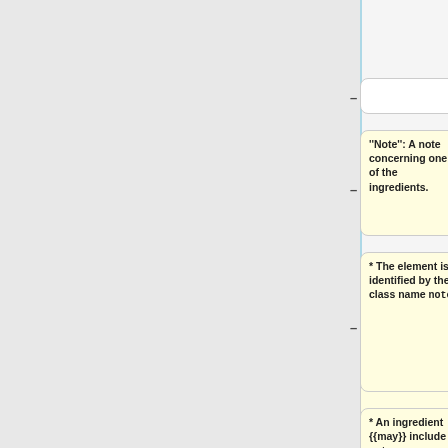<code>item</code>.
'''Note''': A note concerning one of the ingredients.
* The element is identified by the class name <code>note</code>.
* An ingredient {{may}} include a <code>note</code>.
'''Optionality''':